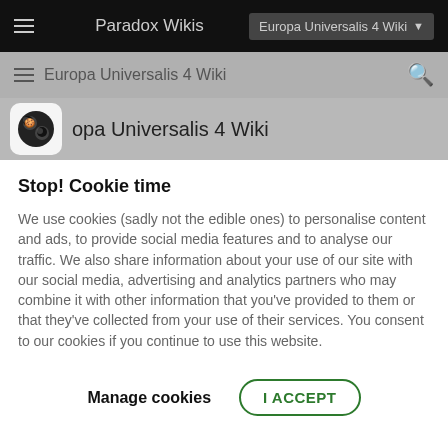Paradox Wikis | Europa Universalis 4 Wiki
Europa Universalis 4 Wiki
Europa Universalis 4 Wiki
Stop! Cookie time
We use cookies (sadly not the edible ones) to personalise content and ads, to provide social media features and to analyse our traffic. We also share information about your use of our site with our social media, advertising and analytics partners who may combine it with other information that you've provided to them or that they've collected from your use of their services. You consent to our cookies if you continue to use this website.
Manage cookies | I ACCEPT